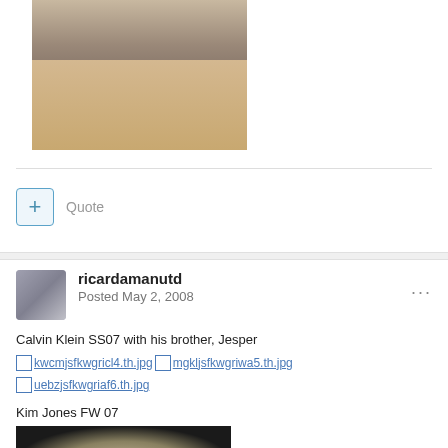[Figure (photo): Fashion runway photo showing model's legs and shoes on a wooden parquet floor, with another person crouching in the background]
Quote
ricardamanutd
Posted May 2, 2008
Calvin Klein SS07 with his brother, Jesper
kwcmjsfkwgricl4.th.jpg   mgkljsfkwgriwa5.th.jpg   uebzjsfkwgriaf6.th.jpg
Kim Jones FW 07
[Figure (photo): Bottom portion of a fashion photo, dark background with partial view of a light-colored subject]